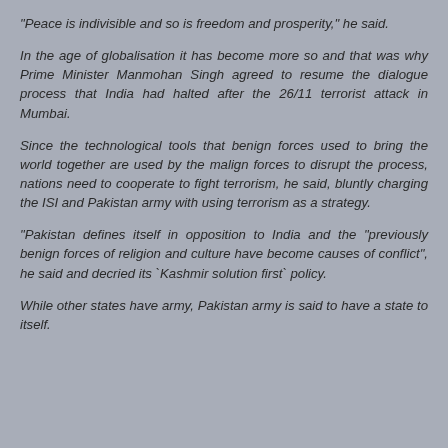“Peace is indivisible and so is freedom and prosperity,” he said.
In the age of globalisation it has become more so and that was why Prime Minister Manmohan Singh agreed to resume the dialogue process that India had halted after the 26/11 terrorist attack in Mumbai.
Since the technological tools that benign forces used to bring the world together are used by the malign forces to disrupt the process, nations need to cooperate to fight terrorism, he said, bluntly charging the ISI and Pakistan army with using terrorism as a strategy.
“Pakistan defines itself in opposition to India and the “previously benign forces of religion and culture have become causes of conflict”, he said and decried its `Kashmir solution first` policy.
While other states have army, Pakistan army is said to have a state to itself.